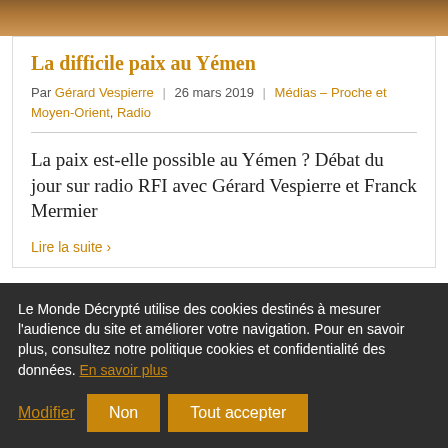[Figure (photo): Partial photo at the top of the article card, showing a cropped image]
La difficile paix au Yémen
Par Gérard Vespierre | 26 mars 2019 | Médias – Proche et Moyen-Orient, Radio
La paix est-elle possible au Yémen ? Débat du jour sur radio RFI avec Gérard Vespierre et Franck Mermier
Lire la suite ›
Le Monde Décrypté utilise des cookies destinés à mesurer l'audience du site et améliorer votre navigation. Pour en savoir plus, consultez notre politique cookies et confidentialité des données. En savoir plus
Modifier  Non  Tout accepter